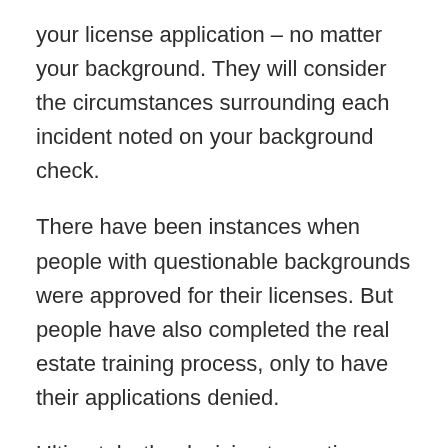your license application – no matter your background. They will consider the circumstances surrounding each incident noted on your background check.
There have been instances when people with questionable backgrounds were approved for their licenses. But people have also completed the real estate training process, only to have their applications denied.
Ultimately, the decision to continue pursuing your real estate license or not is up to you.
60-Hours of Real Estate